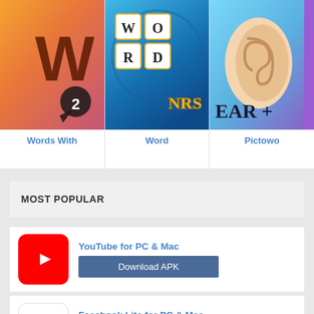[Figure (screenshot): App store listing showing three app icons in a row: 'Words With' (word game with W2 logo), 'Word' (word puzzle game), and 'Pictowo' (partially visible ear icon app)]
Words With
Word
Pictowo
MOST POPULAR
YouTube for PC & Mac
Download APK
Facebook Lite for PC & Mac
Download APK